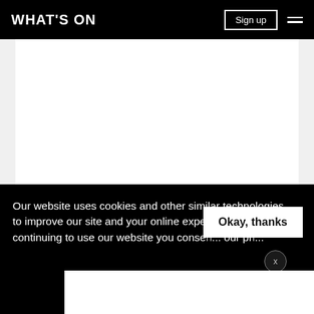WHAT'S ON
[Figure (logo): Instagram logo icon with gradient from yellow/orange to pink/purple, rounded square with camera outline and circle]
Instagram
Our website uses cookies and other similar technologies to improve our site and your online experience. By continuing to use our website you consen... our pr...